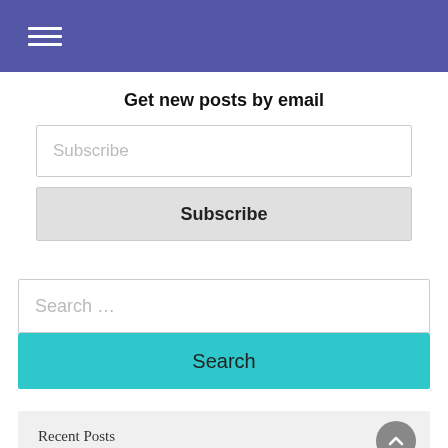Navigation menu (hamburger icon)
Get new posts by email
Subscribe
Subscribe
Search …
Search
Recent Posts
True First Mover Advantage Seen at Tengah EC